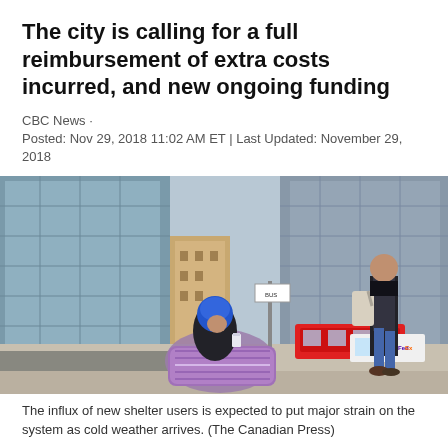The city is calling for a full reimbursement of extra costs incurred, and new ongoing funding
CBC News · Posted: Nov 29, 2018 11:02 AM ET | Last Updated: November 29, 2018
[Figure (photo): A homeless person wrapped in a purple blanket sitting on a cold sidewalk in downtown Toronto, holding a cup. Tall glass office buildings visible in background, a pedestrian walks past, and FedEx trucks visible on the street. Winter scene.]
The influx of new shelter users is expected to put major strain on the system as cold weather arrives. (The Canadian Press)